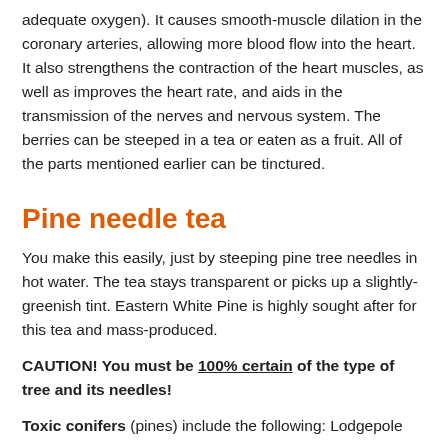adequate oxygen). It causes smooth-muscle dilation in the coronary arteries, allowing more blood flow into the heart. It also strengthens the contraction of the heart muscles, as well as improves the heart rate, and aids in the transmission of the nerves and nervous system. The berries can be steeped in a tea or eaten as a fruit. All of the parts mentioned earlier can be tinctured.
Pine needle tea
You make this easily, just by steeping pine tree needles in hot water. The tea stays transparent or picks up a slightly-greenish tint. Eastern White Pine is highly sought after for this tea and mass-produced.
CAUTION! You must be 100% certain of the type of tree and its needles!
Toxic conifers (pines) include the following: Lodgepole